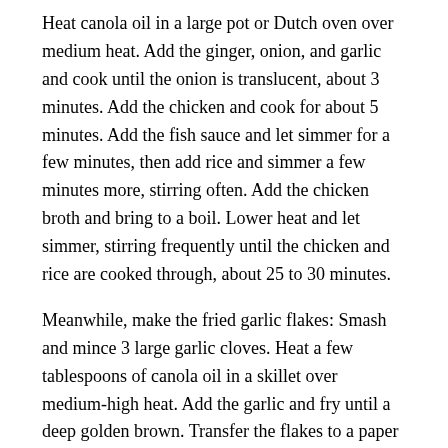Heat canola oil in a large pot or Dutch oven over medium heat. Add the ginger, onion, and garlic and cook until the onion is translucent, about 3 minutes. Add the chicken and cook for about 5 minutes. Add the fish sauce and let simmer for a few minutes, then add rice and simmer a few minutes more, stirring often. Add the chicken broth and bring to a boil. Lower heat and let simmer, stirring frequently until the chicken and rice are cooked through, about 25 to 30 minutes.
Meanwhile, make the fried garlic flakes: Smash and mince 3 large garlic cloves. Heat a few tablespoons of canola oil in a skillet over medium-high heat. Add the garlic and fry until a deep golden brown. Transfer the flakes to a paper towel and set aside.
Serve arroz caldo with fried garlic flakes and green onions sprinkled on top. Makes 6 servings.